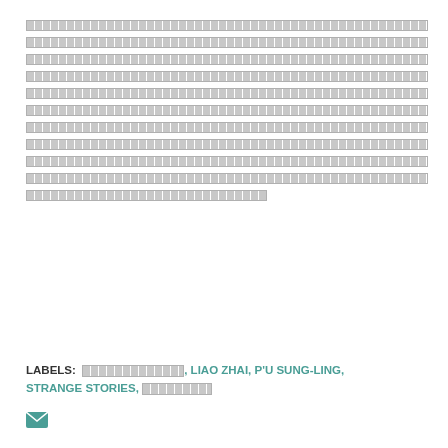[redacted text lines - multiple lines of redacted/blocked out content]
LABELS: [redacted], LIAO ZHAI, P'U SUNG-LING, STRANGE STORIES, [redacted]